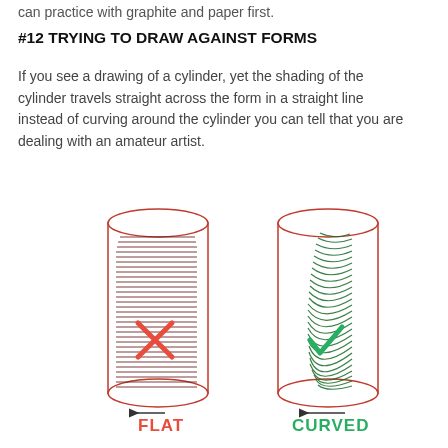can practice with graphite and paper first.
#12 TRYING TO DRAW AGAINST FORMS
If you see a drawing of a cylinder, yet the shading of the cylinder travels straight across the form in a straight line instead of curving around the cylinder you can tell that you are dealing with an amateur artist.
[Figure (illustration): Two cylinders side by side. Left cylinder has flat horizontal shading lines with a red X mark and the label 'FLAT' in red with an arrow. Right cylinder has curved shading strokes with a green checkmark and the label 'CURVED' in green with an arrow.]